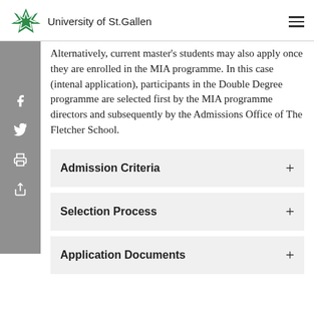[Figure (logo): University of St. Gallen logo with green star/snowflake icon and text 'University of St.Gallen']
Alternatively, current master's students may also apply once they are enrolled in the MIA programme. In this case (intenal application), participants in the Double Degree programme are selected first by the MIA programme directors and subsequently by the Admissions Office of The Fletcher School.
Admission Criteria
Selection Process
Application Documents